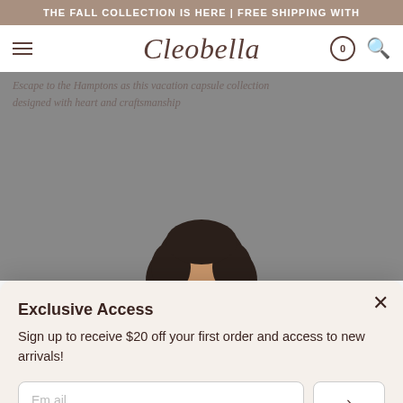THE FALL COLLECTION IS HERE | FREE SHIPPING WITH
[Figure (screenshot): Cleobella brand logo and navigation bar with hamburger menu, cart icon showing 0, and search icon]
Escape to the Hamptons as this vacation capsule collection designed with heart and craftsmanship
[Figure (photo): Gray background hero image with model's head (dark hair) visible at bottom center, partially cropped]
Exclusive Access
Sign up to receive $20 off your first order and access to new arrivals!
Email